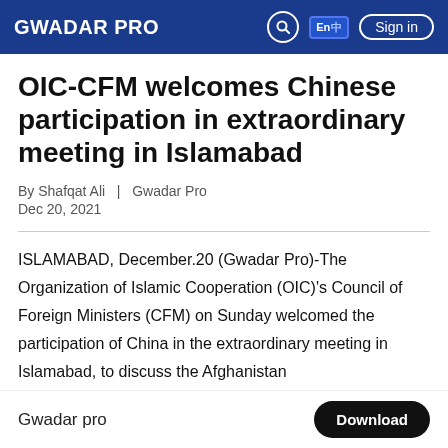GWADAR PRO
OIC-CFM welcomes Chinese participation in extraordinary meeting in Islamabad
By Shafqat Ali  |  Gwadar Pro
Dec 20, 2021
ISLAMABAD, December.20 (Gwadar Pro)-The Organization of Islamic Cooperation (OIC)'s Council of Foreign Ministers (CFM) on Sunday welcomed the participation of China in the extraordinary meeting in Islamabad, to discuss the Afghanistan
Gwadar pro   Download